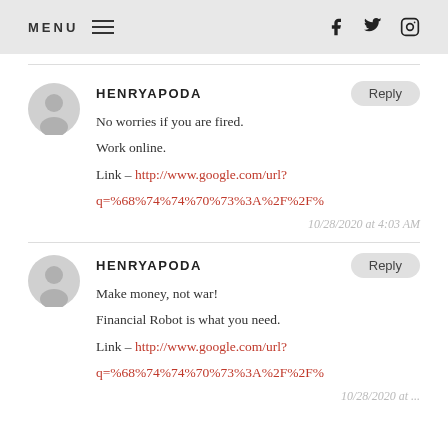MENU [hamburger icon] [facebook] [twitter] [instagram]
HENRYAPODA
No worries if you are fired.

Work online.

Link – http://www.google.com/url?q=%68%74%74%70%73%3A%2F%2F%...
10/28/2020 at 4:03 AM
HENRYAPODA
Make money, not war!

Financial Robot is what you need.

Link – http://www.google.com/url?q=%68%74%74%70%73%3A%2F%2F%...
10/28/2020 at ...